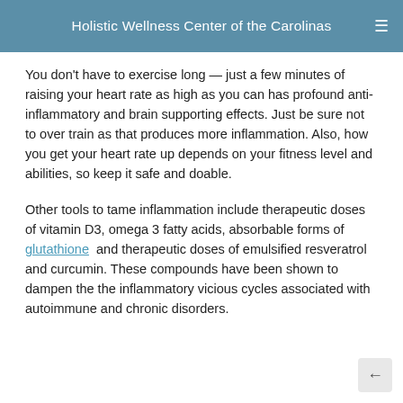Holistic Wellness Center of the Carolinas
You don't have to exercise long — just a few minutes of raising your heart rate as high as you can has profound anti-inflammatory and brain supporting effects. Just be sure not to over train as that produces more inflammation. Also, how you get your heart rate up depends on your fitness level and abilities, so keep it safe and doable.
Other tools to tame inflammation include therapeutic doses of vitamin D3, omega 3 fatty acids, absorbable forms of glutathione and therapeutic doses of emulsified resveratrol and curcumin. These compounds have been shown to dampen the the inflammatory vicious cycles associated with autoimmune and chronic disorders.